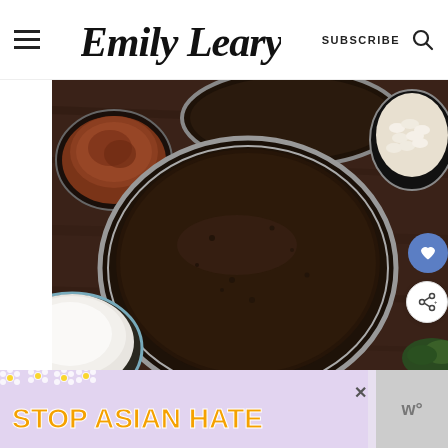Emily Leary | SUBSCRIBE
[Figure (photo): Overhead view of chocolate cake batter in round baking pans on a dark wooden surface, surrounded by bowls of cocoa powder, white chocolate chips, and flour]
[Figure (infographic): Advertisement banner: STOP ASIAN HATE with flower decorations and a cartoon character]